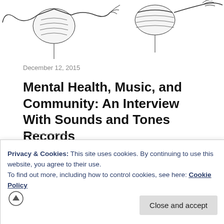[Figure (illustration): Black and white line drawing of skeletal/anatomical figures in motion, partially cropped at top of page]
December 12, 2015
Mental Health, Music, and Community: An Interview With Sounds and Tones Records
When I talk about my personal journey with mental health, music is something that is seldom left out. Music was one of the first ways I personified and expressed what I was feeling. It was a way to cope with my depression and anxieties, and a great way to feel like I belonged. It gave me my own
Privacy & Cookies: This site uses cookies. By continuing to use this website, you agree to their use.
To find out more, including how to control cookies, see here: Cookie Policy